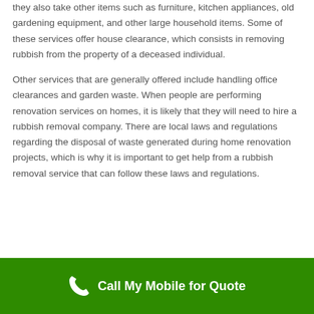they also take other items such as furniture, kitchen appliances, old gardening equipment, and other large household items. Some of these services offer house clearance, which consists in removing rubbish from the property of a deceased individual.
Other services that are generally offered include handling office clearances and garden waste. When people are performing renovation services on homes, it is likely that they will need to hire a rubbish removal company. There are local laws and regulations regarding the disposal of waste generated during home renovation projects, which is why it is important to get help from a rubbish removal service that can follow these laws and regulations.
Call My Mobile for Quote